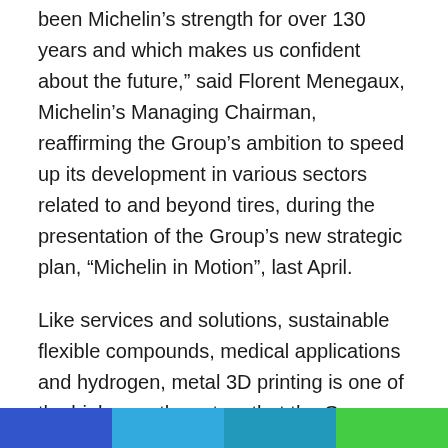been Michelin’s strength for over 130 years and which makes us confident about the future,” said Florent Menegaux, Michelin’s Managing Chairman, reaffirming the Group’s ambition to speed up its development in various sectors related to and beyond tires, during the presentation of the Group’s new strategic plan, “Michelin in Motion”, last April.
Like services and solutions, sustainable flexible compounds, medical applications and hydrogen, metal 3D printing is one of the high-growth sectors that the Group has decided to enter. Over its history, Michelin has acquired outstanding expertise in the physics and chemistry of High-Tech Materials and their simulation, processing, industrialization and applications. The Group intends to leverage this recognized know-how in fields other than tires and the new
[Figure (other): Four colored bars at the bottom of the page: dark blue, light blue, teal/dark cyan, and green]